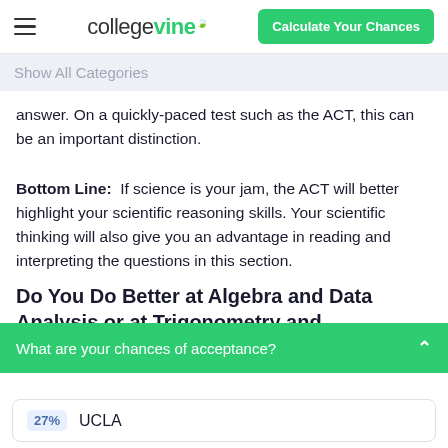collegevine — Calculate Your Chances
Show All Categories
answer. On a quickly-paced test such as the ACT, this can be an important distinction.
Bottom Line:  If science is your jam, the ACT will better highlight your scientific reasoning skills. Your scientific thinking will also give you an advantage in reading and interpreting the questions in this section.
Do You Do Better at Algebra and Data Analysis or at Trigonometry and Geometry?
What are your chances of acceptance?
27%  UCLA